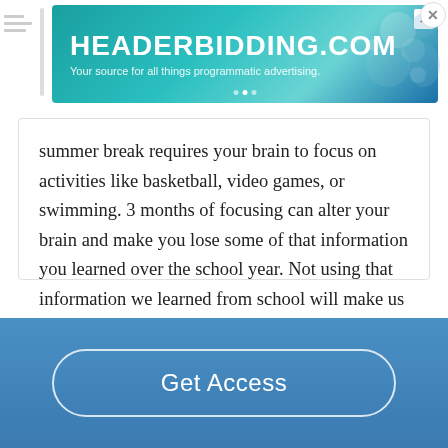[Figure (screenshot): HEADERBIDDING.COM advertisement banner - Your source for all things programmatic advertising.]
summer break requires your brain to focus on activities like basketball, video games, or swimming. 3 months of focusing can alter your brain and make you lose some of that information you learned over the school year. Not using that information we learned from school will make us forget some of it, if not used for a while. "BRAIN DRAIN:…
Read More
Satisfactory Essays
Get Access